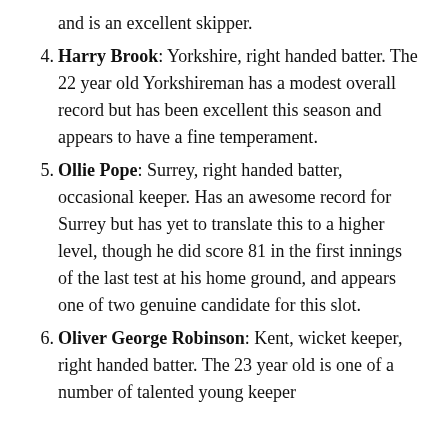and is an excellent skipper.
4. Harry Brook: Yorkshire, right handed batter. The 22 year old Yorkshireman has a modest overall record but has been excellent this season and appears to have a fine temperament.
5. Ollie Pope: Surrey, right handed batter, occasional keeper. Has an awesome record for Surrey but has yet to translate this to a higher level, though he did score 81 in the first innings of the last test at his home ground, and appears one of two genuine candidate for this slot.
6. Oliver George Robinson: Kent, wicket keeper, right handed batter. The 23 year old is one of a number of talented young keeper